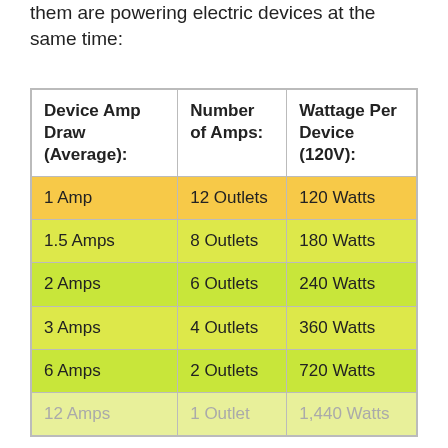them are powering electric devices at the same time:
| Device Amp Draw (Average): | Number of Amps: | Wattage Per Device (120V): |
| --- | --- | --- |
| 1 Amp | 12 Outlets | 120 Watts |
| 1.5 Amps | 8 Outlets | 180 Watts |
| 2 Amps | 6 Outlets | 240 Watts |
| 3 Amps | 4 Outlets | 360 Watts |
| 6 Amps | 2 Outlets | 720 Watts |
| 12 Amps | 1 Outlet | 1,440 Watts |